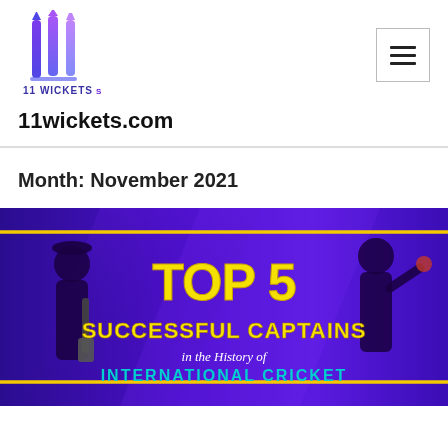[Figure (logo): 11 Wickets logo with stylized cricket stumps/pens in purple and blue gradient, with '11 WICKETS' text below]
11wickets.com
Month: November 2021
[Figure (illustration): Banner image with purple background showing silhouettes of two cricket players, text reads 'TOP 5 SUCCESSFUL CAPTAINS in the History of INTERNATIONAL CRICKET' in yellow and cyan text]